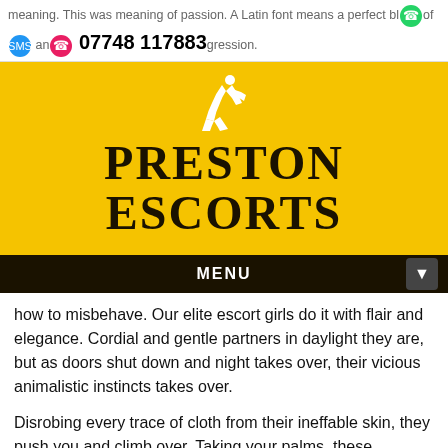meaning. This was meaning of passion. A Latin font means a perfect blend of passion and care that catches the impression. [Icons: WhatsApp, SMS, Call] 07748 117883
[Figure (logo): Preston Escorts logo: yellow background with white female silhouette and bold dark text reading PRESTON ESCORTS]
MENU
how to misbehave. Our elite escort girls do it with flair and elegance. Cordial and gentle partners in daylight they are, but as doors shut down and night takes over, their vicious animalistic instincts takes over.
Disrobing every trace of cloth from their ineffable skin, they push you and climb over. Taking your palms, these womanly escorts in Manchester make you squeeze their juicy busts and